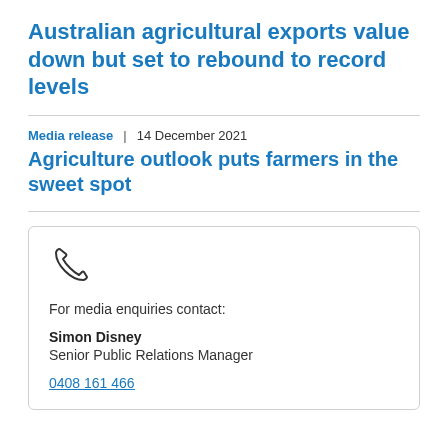Australian agricultural exports value down but set to rebound to record levels
Media release  |  14 December 2021
Agriculture outlook puts farmers in the sweet spot
For media enquiries contact:
Simon Disney
Senior Public Relations Manager
0408 161 466